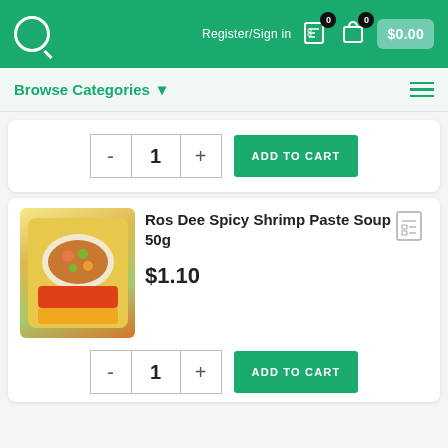Register/Sign in  $0.00
Browse Categories
[Figure (screenshot): ADD TO CART button with quantity selector showing - 1 + controls]
[Figure (photo): Ros Dee Spicy Shrimp Paste Soup 50g product package photo]
Ros Dee Spicy Shrimp Paste Soup 50g
$1.10
[Figure (screenshot): ADD TO CART button with quantity selector at bottom of second card (partially visible)]